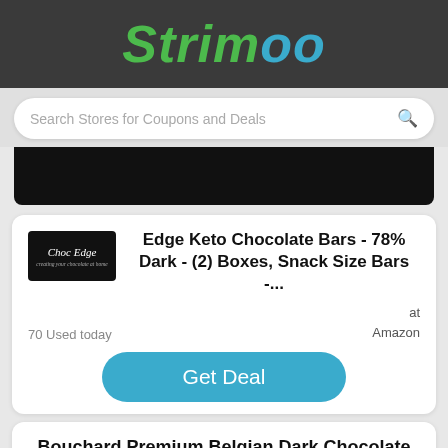Strimoo
Search Stores for Coupons and Deals
[Figure (screenshot): Black banner/image area below search bar]
Edge Keto Chocolate Bars - 78% Dark - (2) Boxes, Snack Size Bars -...
[Figure (logo): Choc Edge brand logo - white text on black background]
70 Used today
at Amazon
Get Deal
Bouchard Premium Belgian Dark Chocolate